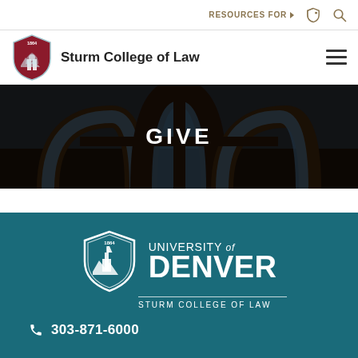RESOURCES FOR | [shield icon] | [search icon]
Sturm College of Law
[Figure (photo): Arched window interior architecture with darkened overlay, with centered text GIVE]
GIVE
[Figure (logo): University of Denver Sturm College of Law white logo on teal background with shield icon, divider line, and subtitle text]
303-871-6000